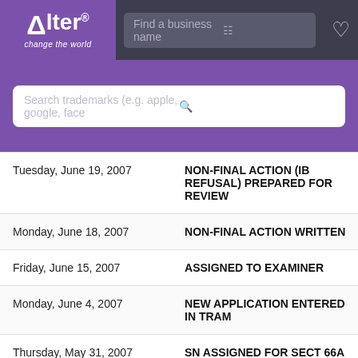[Figure (logo): Alter logo - purple background with white text 'Alter change the world' with registered trademark symbol]
Find a business name
[Figure (screenshot): Search bar with placeholder text 'Search trademarks (e.g. apple, google, face' with search icon]
| Date | Action |
| --- | --- |
| Tuesday, June 19, 2007 | NON-FINAL ACTION (IB REFUSAL) PREPARED FOR REVIEW |
| Monday, June 18, 2007 | NON-FINAL ACTION WRITTEN |
| Friday, June 15, 2007 | ASSIGNED TO EXAMINER |
| Monday, June 4, 2007 | NEW APPLICATION ENTERED IN TRAM |
| Thursday, May 31, 2007 | SN ASSIGNED FOR SECT 66A APPL |